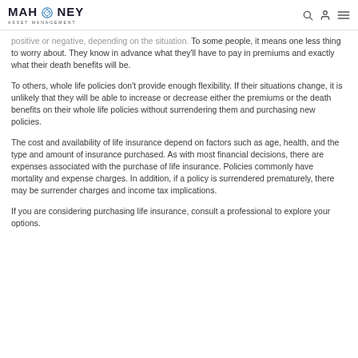MAHONEY ASSET MANAGEMENT
positive or negative, depending on the situation. To some people, it means one less thing to worry about. They know in advance what they'll have to pay in premiums and exactly what their death benefits will be.
To others, whole life policies don't provide enough flexibility. If their situations change, it is unlikely that they will be able to increase or decrease either the premiums or the death benefits on their whole life policies without surrendering them and purchasing new policies.
The cost and availability of life insurance depend on factors such as age, health, and the type and amount of insurance purchased. As with most financial decisions, there are expenses associated with the purchase of life insurance. Policies commonly have mortality and expense charges. In addition, if a policy is surrendered prematurely, there may be surrender charges and income tax implications.
If you are considering purchasing life insurance, consult a professional to explore your options.